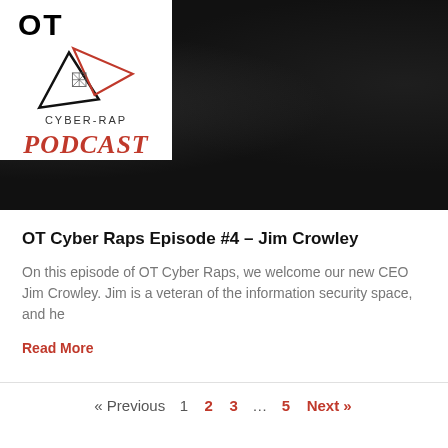[Figure (logo): OT Cyber-Rap Podcast logo on dark textured background. White box with black triangle/arrow shapes and red triangle, text 'OT' and 'CYBER-RAP' inside. Below in dark red italic font: 'PODCAST'.]
OT Cyber Raps Episode #4 – Jim Crowley
On this episode of OT Cyber Raps, we welcome our new CEO Jim Crowley. Jim is a veteran of the information security space, and he
Read More
« Previous  1  2  3  …  5  Next »